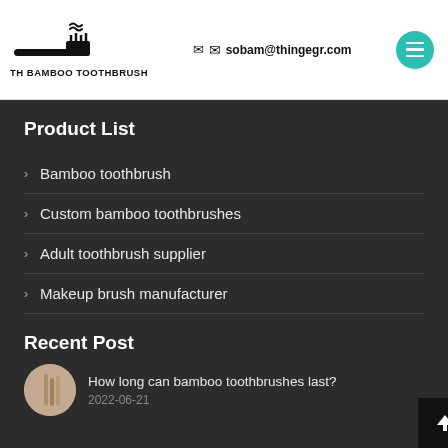TH BAMBOO TOOTHBRUSH | sobam@thingegr.com
Product List
Bamboo toothbrush
Custom bamboo toothbrushes
Adult toothbrush supplier
Makeup brush manufacturer
Recent Post
How long can bamboo toothbrushes last?
2022-06-21